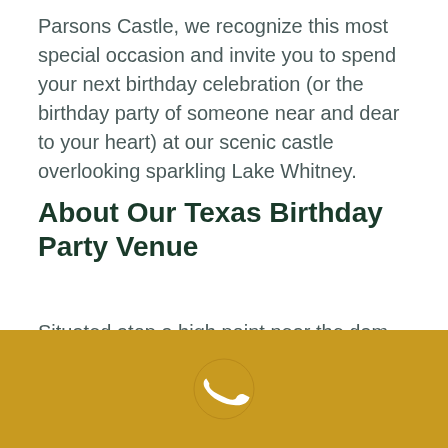Parsons Castle, we recognize this most special occasion and invite you to spend your next birthday celebration (or the birthday party of someone near and dear to your heart) at our scenic castle overlooking sparkling Lake Whitney.
About Our Texas Birthday Party Venue
Situated atop a high point near the dam with a panoramic view of the Lake Whitney shoreline and miles of lush greenery beyond, our modern-day castle evokes visions of royalty and knights in shining armor the moment you cross the moat and drawbridge to enter our estate. The magic continues as you pass the fountain and enter the stately
[Figure (illustration): Gold/yellow footer bar with a white and gold telephone handset icon centered in it]